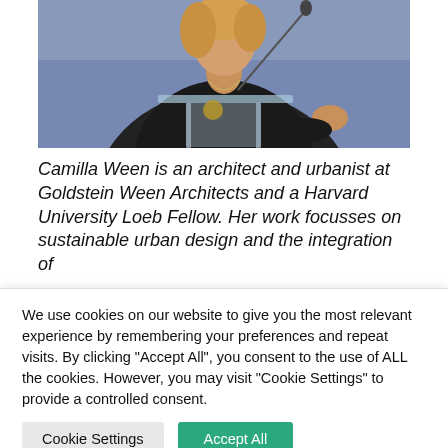[Figure (photo): Woman with blonde hair speaking at a podium with a glass lectern and microphone, wearing a dark jacket and necklace, blue background]
Camilla Ween is an architect and urbanist at Goldstein Ween Architects and a Harvard University Loeb Fellow. Her work focusses on sustainable urban design and the integration of
We use cookies on our website to give you the most relevant experience by remembering your preferences and repeat visits. By clicking "Accept All", you consent to the use of ALL the cookies. However, you may visit "Cookie Settings" to provide a controlled consent.
Cookie Settings
Accept All